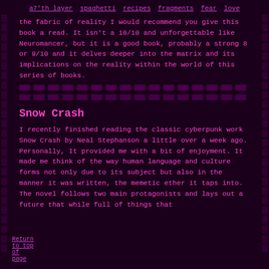a7'th layer   spaghetti   recipes   fragments   fear   love
the fabric of reality I would recommend you give this book a read. It isn't a 10/10 and unforgettable like Neuromancer, but it is a good book, probably a strong 8 or 9/10 and it delves deeper into the matrix and its implications on the reality within the world of this series of books.
Snow Crash
I recently finished reading the classic cyberpunk work Snow Crash by Neal Stephanson a little over a week ago. Personally, It provided me with a bit of enjoyment. It made me think of the way human language and culture forms not only due to its subject but also in the manner it was written, the memetic ether it taps into. The novel follows two main protagonists and lays out a future that while full of things that
Return to top of page